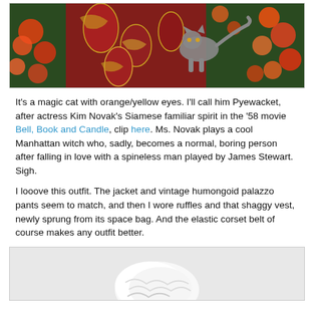[Figure (photo): A photo showing colorful paisley/floral fabric (jacket or pants) in red and orange tones, with a cat visible among orange flowers in a garden setting.]
It's a magic cat with orange/yellow eyes. I'll call him Pyewacket, after actress Kim Novak's Siamese familiar spirit in the '58 movie Bell, Book and Candle, clip here. Ms. Novak plays a cool Manhattan witch who, sadly, becomes a normal, boring person after falling in love with a spineless man played by James Stewart. Sigh.
I looove this outfit. The jacket and vintage humongoid palazzo pants seem to match, and then I wore ruffles and that shaggy vest, newly sprung from its space bag. And the elastic corset belt of course makes any outfit better.
[Figure (photo): A partial photo showing white clothing/fabric item, bottom of page.]